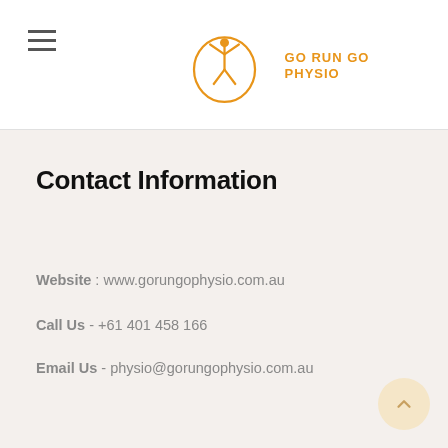[Figure (logo): Go Run Go Physio logo — orange figure with arms raised inside a circular shape, with text GO RUN GO PHYSIO in orange]
Contact Information
Website : www.gorungophysio.com.au
Call Us - +61 401 458 166
Email Us - physio@gorungophysio.com.au